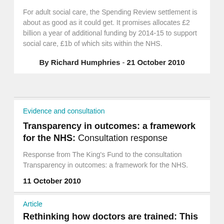For adult social care, the Spending Review settlement is about as good as it could get. It promises allocates £2 billion a year of additional funding by 2014-15 to support social care, £1b of which sits within the NHS.
By Richard Humphries - 21 October 2010
Evidence and consultation
Transparency in outcomes: a framework for the NHS: Consultation response
Response from The King's Fund to the consultation Transparency in outcomes: a framework for the NHS.
11 October 2010
Article
Rethinking how doctors are trained: This is